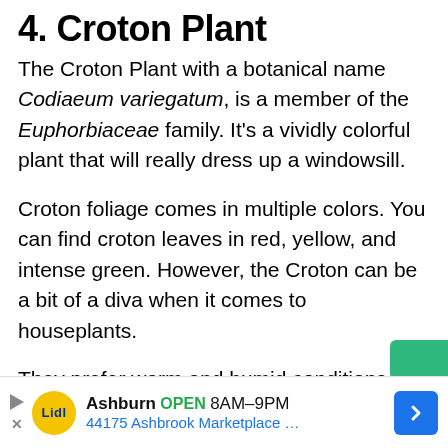4. Croton Plant
The Croton Plant with a botanical name Codiaeum variegatum, is a member of the Euphorbiaceae family. It's a vividly colorful plant that will really dress up a windowsill.
Croton foliage comes in multiple colors. You can find croton leaves in red, yellow, and intense green. However, the Croton can be a bit of a diva when it comes to houseplants.
They prefer warm and humid conditions with dappled light and generous waterings. The croton is native to Malaysia and India. In warmer climates, they are cultivated outdoors as ornamental shrubs.
[Figure (other): Advertisement banner for Lidl store in Ashburn, open 8AM-9PM, located at 44175 Ashbrook Marketplace]